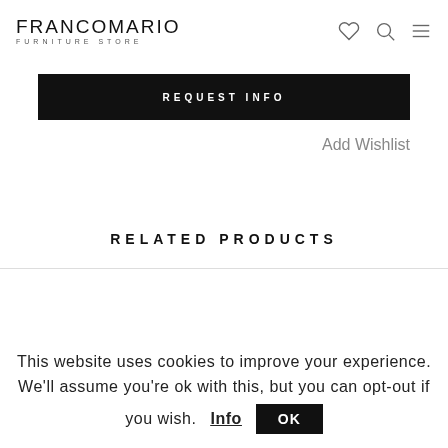FRANCOMARIO FURNITURE STORE
REQUEST INFO
Add Wishlist
RELATED PRODUCTS
This website uses cookies to improve your experience. We'll assume you're ok with this, but you can opt-out if you wish. Info OK